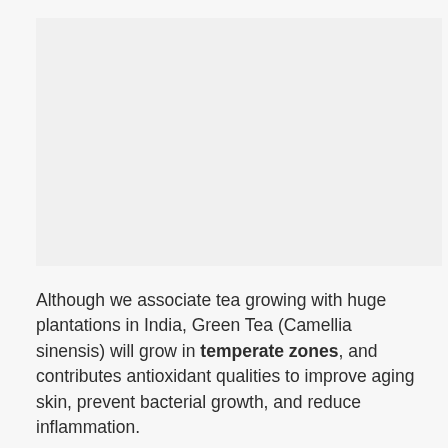[Figure (photo): Placeholder image area, light grey background representing a photo of tea or related subject]
Although we associate tea growing with huge plantations in India, Green Tea (Camellia sinensis) will grow in temperate zones, and contributes antioxidant qualities to improve aging skin, prevent bacterial growth, and reduce inflammation.
For those with a desire described in our next...